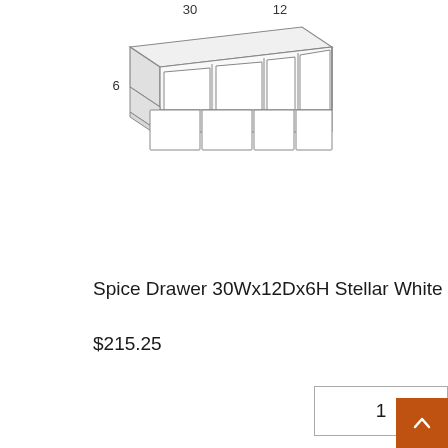[Figure (illustration): Line drawing/schematic of a spice drawer cabinet 30Wx12Dx6H with four open compartments, annotated with dimensions 30, 12, and 6]
Spice Drawer 30Wx12Dx6H Stellar White
$215.25
1
ADD TO CART
B
This website uses cookies to ensure you get the best experience on our website.
Learn more
Got it!
[Figure (illustration): Partial bottom product image with dimension label 24]